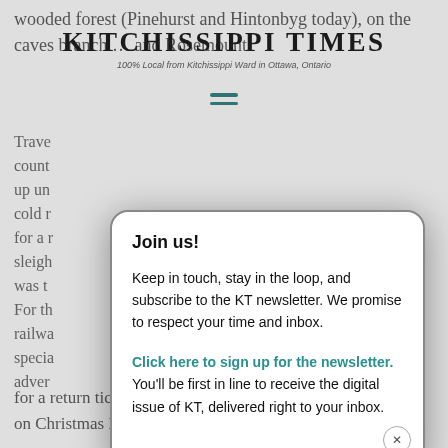KITCHISSIPPI TIMES
100% Local from Kitchissippi Ward in Ottawa, Ontario
wooded forest (Pinehurst and Hintonbyrg today), on the caves branch … and Rosemount.
Trave… count… up un… cold r… for a … sleigh… was t… For th… railwa… specia… adver… for a return ticket with departures on Christmas Eve or Day.
Join us!
Keep in touch, stay in the loop, and subscribe to the KT newsletter. We promise to respect your time and inbox.
Click here to sign up for the newsletter. You'll be first in line to receive the digital issue of KT, delivered right to your inbox.